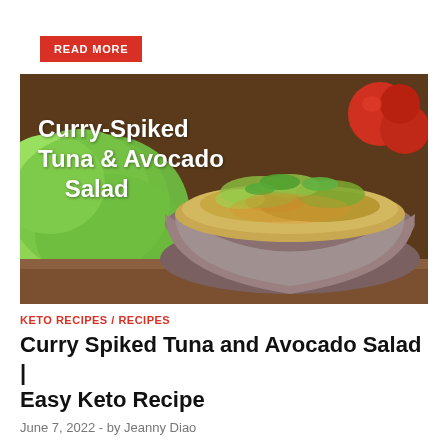READ MORE
[Figure (photo): Food photo showing a bowl of curry-spiked tuna and avocado salad with lettuce leaves and tomatoes in background, with overlay text 'Curry-Spiked Tuna & Avocado Salad' in white]
KETO RECIPES / RECIPES
Curry Spiked Tuna and Avocado Salad | Easy Keto Recipe
June 7, 2022  -  by Jeanny Diao